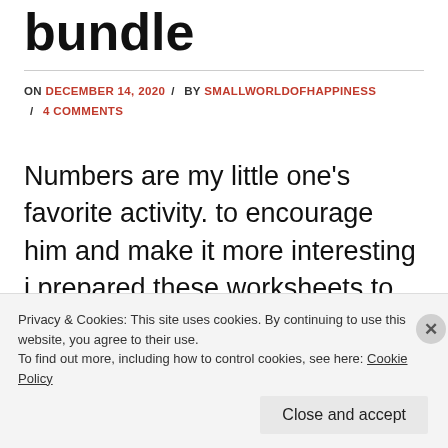bundle
ON DECEMBER 14, 2020 / BY SMALLWORLDOFHAPPINESS / 4 COMMENTS
Numbers are my little one's favorite activity. to encourage him and make it more interesting i prepared these worksheets to develop the confidence levels in the numbers. the consent is simple, the child need to write
Privacy & Cookies: This site uses cookies. By continuing to use this website, you agree to their use.
To find out more, including how to control cookies, see here: Cookie Policy
Close and accept